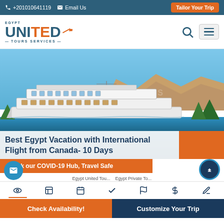+201010641119  Email Us  Tailor Your Trip
[Figure (logo): Egypt United Tours Services logo with airplane icon]
Best Egypt Vacation with International Flight from Canada- 10 Days
Check our COVID-19 Hub, Travel Safe
Check Availability!  Customize Your Trip